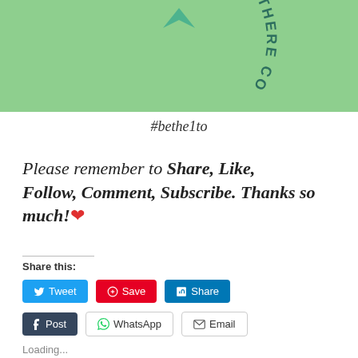[Figure (illustration): Green banner background with circular text reading 'HELP THEM · BE THERE CO...' in dark teal, shown upside-down/rotated, with teal arrow/chevron at top center]
#bethe1to
Please remember to Share, Like, Follow, Comment, Subscribe. Thanks so much!❤
Share this:
Tweet
Save
Share
Post
WhatsApp
Email
Loading...